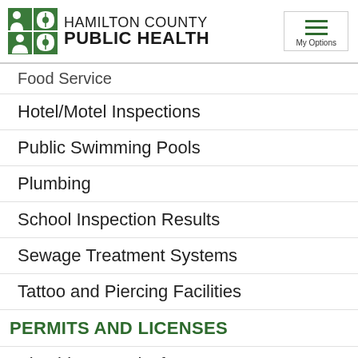Hamilton County Public Health
Food Service
Hotel/Motel Inspections
Public Swimming Pools
Plumbing
School Inspection Results
Sewage Treatment Systems
Tattoo and Piercing Facilities
PERMITS AND LICENSES
Plumbing Permits for Homeowners
Private Water Systems